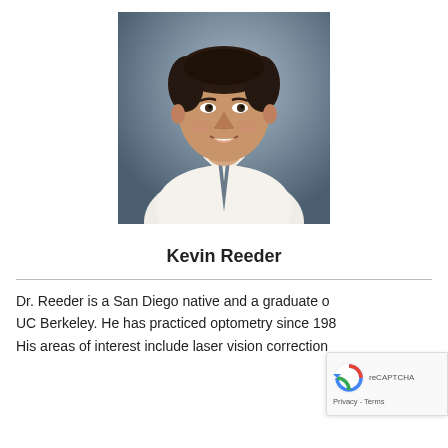[Figure (photo): Professional headshot of Kevin Reeder, a middle-aged man in a white dress shirt and dark tie, smiling, against a grey studio background]
Kevin Reeder
Dr. Reeder is a San Diego native and a graduate of UC Berkeley. He has practiced optometry since 198... His areas of interest include laser vision correction